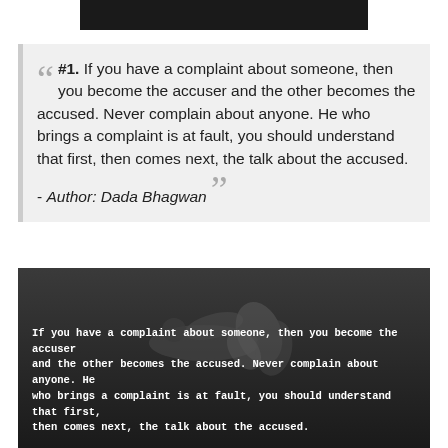#1. If you have a complaint about someone, then you become the accuser and the other becomes the accused. Never complain about anyone. He who brings a complaint is at fault, you should understand that first, then comes next, the talk about the accused. - Author: Dada Bhagwan
[Figure (photo): Dark black and white image showing a person bowing down or lying prostrate, with flower petals or leaves visible. Below the image is overlaid white bold monospace text repeating the quote about complaints.]